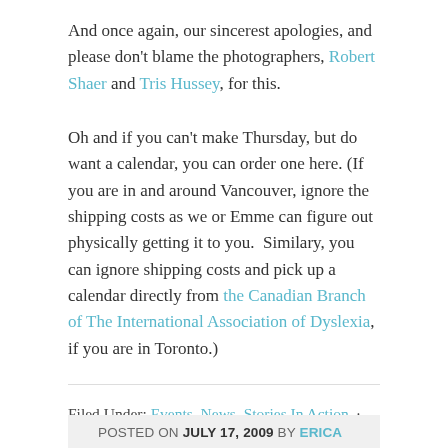And once again, our sincerest apologies, and please don't blame the photographers, Robert Shaer and Tris Hussey, for this.
Oh and if you can't make Thursday, but do want a calendar, you can order one here. (If you are in and around Vancouver, ignore the shipping costs as we or Emme can figure out physically getting it to you.  Similary, you can ignore shipping costs and pick up a calendar directly from the Canadian Branch of The International Association of Dyslexia, if you are in Toronto.)
Filed Under: Events, News, Stories In Action · Tagged With: Being Emme, dyslexia, Emme Rogers, interactive storytelling, Lori Yearwood, Reading is Sexy
POSTED ON JULY 17, 2009 BY ERICA